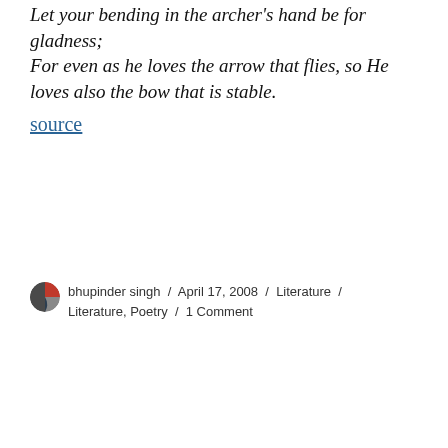Let your bending in the archer's hand be for gladness;
For even as he loves the arrow that flies, so He loves also the bow that is stable.
source
bhupinder singh / April 17, 2008 / Literature / Literature, Poetry / 1 Comment
Privacy & Cookies: This site uses cookies. By continuing to use this website, you agree to their use.
To find out more, including how to control cookies, see here:
Cookie Policy
Close and accept